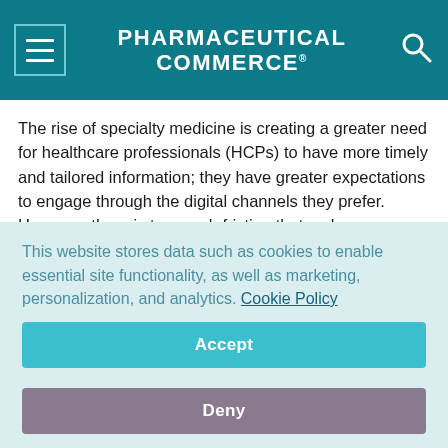PHARMACEUTICAL COMMERCE
The rise of specialty medicine is creating a greater need for healthcare professionals (HCPs) to have more timely and tailored information; they have greater expectations to engage through the digital channels they prefer. However, there is too much friction that makes information access difficult. For example, a single pharma company may have 10–15 digital channels with different ways of recognizing and registering the HCP. Multiply that by the number of companies an HCP works with and you have inefficiency and frustration for the customer. The result is that they look
This website stores data such as cookies to enable essential site functionality, as well as marketing, personalization, and analytics. Cookie Policy
Accept
Deny